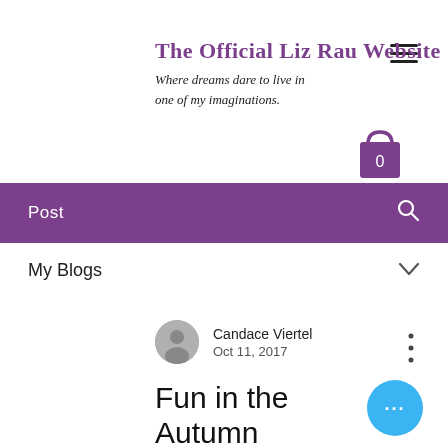The Official Liz Rau Website
Where dreams dare to live in one of my imaginations.
[Figure (other): Hamburger menu icon (three horizontal lines)]
[Figure (other): Shopping bag icon in purple with number 0]
Post
My Blogs
Candace Viertel
Oct 11, 2017
Fun in the Autumn Months
[Figure (other): Blue circular button with three dots (more options)]